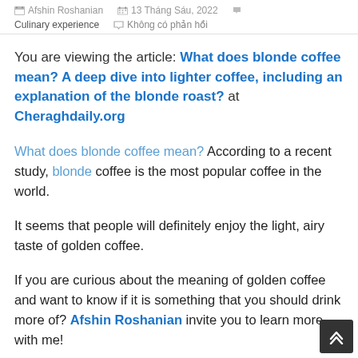Afshin Roshanian  13 Tháng Sáu, 2022  Culinary experience  Không có phản hồi
You are viewing the article: What does blonde coffee mean? A deep dive into lighter coffee, including an explanation of the blonde roast? at Cheraghdaily.org
What does blonde coffee mean? According to a recent study, blonde coffee is the most popular coffee in the world.
It seems that people will definitely enjoy the light, airy taste of golden coffee.
If you are curious about the meaning of golden coffee and want to know if it is something that you should drink more of? Afshin Roshanian invite you to learn more with me!